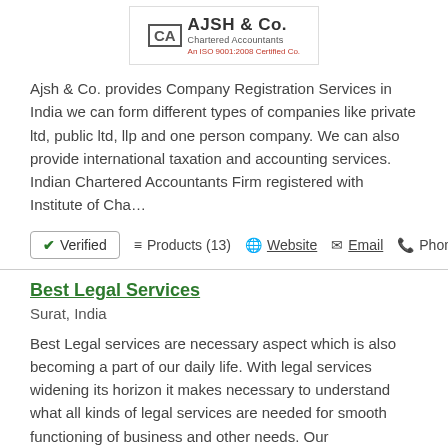[Figure (logo): AJSH & Co. Chartered Accountants logo with CA monogram and ISO certification text]
Ajsh & Co. provides Company Registration Services in India we can form different types of companies like private ltd, public ltd, llp and one person company. We can also provide international taxation and accounting services. Indian Chartered Accountants Firm registered with Institute of Cha…
✔ Verified  ≡ Products (13)  🌐 Website  ✉ Email  📞 Phone
Best Legal Services
Surat, India
Best Legal services are necessary aspect which is also becoming a part of our daily life. With legal services widening its horizon it makes necessary to understand what all kinds of legal services are needed for smooth functioning of business and other needs. Our bestlegalservices.in delivers exc…
✔ Verified  ≡ Products (4)  🌐 Website  ✉ Email  📞 Phone